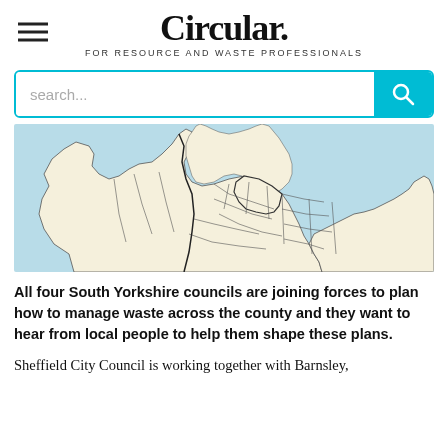Circular. FOR RESOURCE AND WASTE PROFESSIONALS
[Figure (map): Map of England and Wales showing regional council boundaries, with coastal outlines in light blue and inland regions in cream/beige with dark borders.]
All four South Yorkshire councils are joining forces to plan how to manage waste across the county and they want to hear from local people to help them shape these plans.
Sheffield City Council is working together with Barnsley,